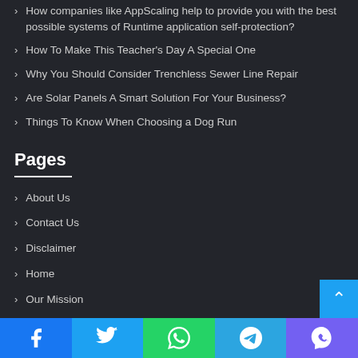How companies like AppScaling help to provide you with the best possible systems of Runtime application self-protection?
How To Make This Teacher's Day A Special One
Why You Should Consider Trenchless Sewer Line Repair
Are Solar Panels A Smart Solution For Your Business?
Things To Know When Choosing a Dog Run
Pages
About Us
Contact Us
Disclaimer
Home
Our Mission
Privacy Policy for Know with Us